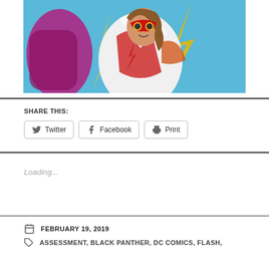[Figure (illustration): Comic book illustration of a female superhero in a white and red costume with lightning bolt motifs, brown hair, against a blue sky background with yellow lightning bolts]
SHARE THIS:
Twitter  Facebook  Print
Loading...
FEBRUARY 19, 2019
ASSESSMENT, BLACK PANTHER, DC COMICS, FLASH,